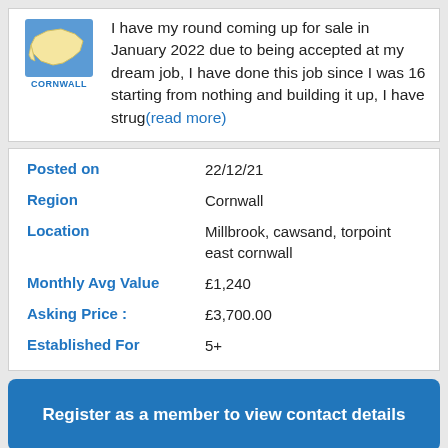I have my round coming up for sale in January 2022 due to being accepted at my dream job, I have done this job since I was 16 starting from nothing and building it up, I have strug(read more)
| Posted on | 22/12/21 |
| Region | Cornwall |
| Location | Millbrook, cawsand, torpoint east cornwall |
| Monthly Avg Value | £1,240 |
| Asking Price : | £3,700.00 |
| Established For | 5+ |
Register as a member to view contact details